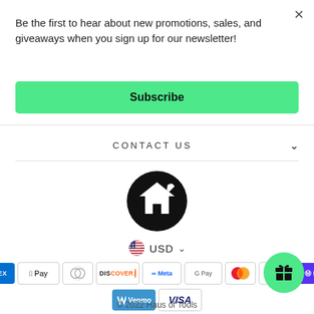Be the first to hear about new promotions, sales, and giveaways when you sign up for our newsletter!
Subscribe
CONTACT US
[Figure (logo): Haus of Tools circular logo — black circle with white house and wrench icon]
USD
[Figure (infographic): Payment method icons: Amex, Apple Pay, Diners, Discover, Meta Pay, Google Pay, Mastercard, PayPal, Shop Pay, Venmo, Visa]
© 2022 Haus of Tools